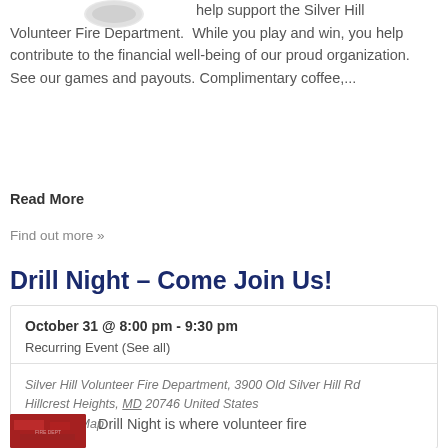help support the Silver Hill Volunteer Fire Department.  While you play and win, you help contribute to the financial well-being of our proud organization.  See our games and payouts. Complimentary coffee,...
Read More
Find out more »
Drill Night – Come Join Us!
| October 31 @ 8:00 pm - 9:30 pm |
| Recurring Event (See all) |
| Silver Hill Volunteer Fire Department, 3900 Old Silver Hill Rd Hillcrest Heights, MD 20746 United States + Google Map |
[Figure (photo): Thumbnail image of fire department truck or vehicle, red colored]
Drill Night is where volunteer fire